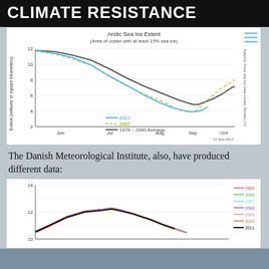CLIMATE RESISTANCE
[Figure (continuous-plot): Arctic Sea Ice Extent line chart showing 2011 (solid blue), 2007 (dashed yellow-green), and 1979-2000 Average (solid dark gray) from June through October. Y-axis: Extent in millions of square kilometers (2-12). X-axis: months Jun, Jul, Aug, Sep, Oct. All three curves dip to a minimum around early September. 2011 minimum ~4.5, 2007 minimum ~4.1, 1979-2000 average minimum ~6.7. Source: National Snow and Ice Data Center, Boulder CO. Date: 22 Sep 2011.]
The Danish Meteorological Institute, also, have produced different data:
[Figure (continuous-plot): Multi-line chart showing Arctic sea ice extent for years 2005 (red), 2006 (green), 2007 (light blue), 2008 (purple), 2009 (pink), 2010 (orange-brown), 2011 (black bold). Y-axis goes from about 10 to 14. Shows seasonal variation with peak around April and decline through fall.]